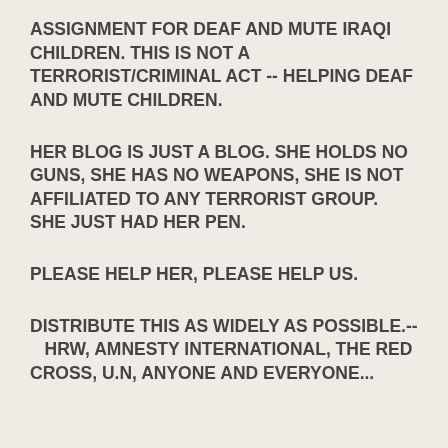ASSIGNMENT FOR DEAF AND MUTE IRAQI CHILDREN. THIS IS NOT A TERRORIST/CRIMINAL ACT -- HELPING DEAF AND MUTE CHILDREN.
HER BLOG IS JUST A BLOG. SHE HOLDS NO GUNS, SHE HAS NO WEAPONS, SHE IS NOT AFFILIATED TO ANY TERRORIST GROUP. SHE JUST HAD HER PEN.
PLEASE HELP HER, PLEASE HELP US.
DISTRIBUTE THIS AS WIDELY AS POSSIBLE.--   HRW, AMNESTY INTERNATIONAL, THE RED CROSS, U.N, ANYONE AND EVERYONE...